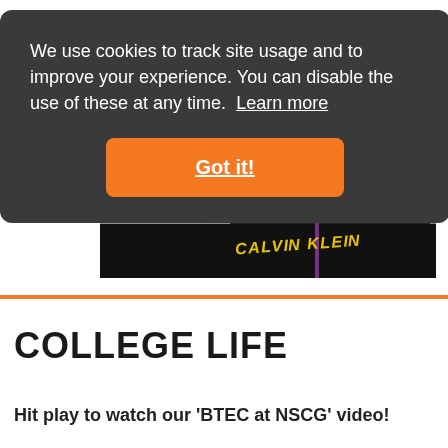We use cookies to track site usage and to improve your experience. You can disable the use of these at any time. Learn more
[Figure (screenshot): Cookie consent banner overlay on a college website showing a dark rounded rectangle with white text about cookies and an orange 'Got it!' button, with a video player showing a student wearing a Calvin Klein shirt with an Ofsted Outstanding Provider badge visible]
COLLEGE LIFE
Hit play to watch our 'BTEC at NSCG' video!